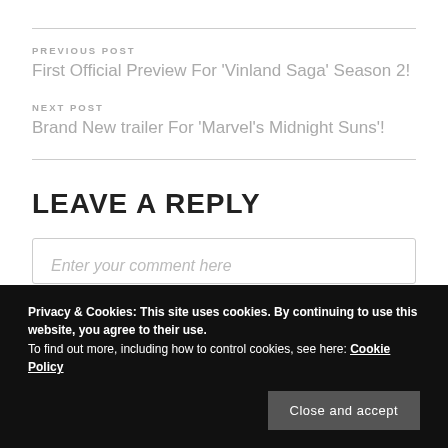PREVIOUS POST
First Official Preview For ‘Vinland Saga’ Season 2!
NEXT POST
Brand New trailer For ‘Marvel’s Midnight Suns’!
LEAVE A REPLY
Enter your comment here
Privacy & Cookies: This site uses cookies. By continuing to use this website, you agree to their use.
To find out more, including how to control cookies, see here: Cookie Policy
Close and accept